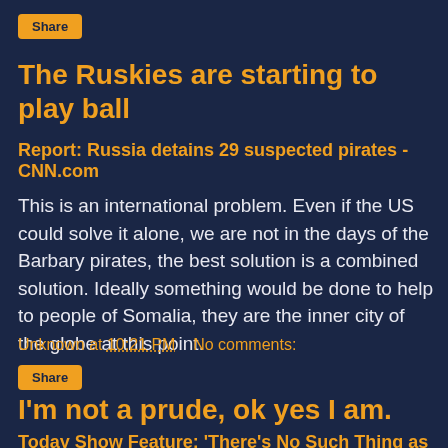Share
The Ruskies are starting to play ball
Report: Russia detains 29 suspected pirates - CNN.com
This is an international problem. Even if the US could solve it alone, we are not in the days of the Barbary pirates, the best solution is a combined solution. Ideally something would be done to help to people of Somalia, they are the inner city of the globe at this point.
Unknown at 10:21 PM    No comments:
Share
I'm not a prude, ok yes I am.
Today Show Feature: 'There's No Such Thing as Virginity' | NewsBusters.org